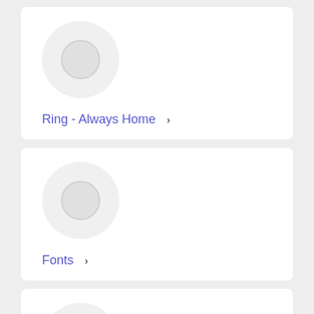[Figure (illustration): White card with a light gray circular icon placeholder]
Ring - Always Home >
[Figure (illustration): White card with a light gray circular icon placeholder]
Fonts >
[Figure (illustration): White card with a light gray circular icon placeholder (partially visible)]